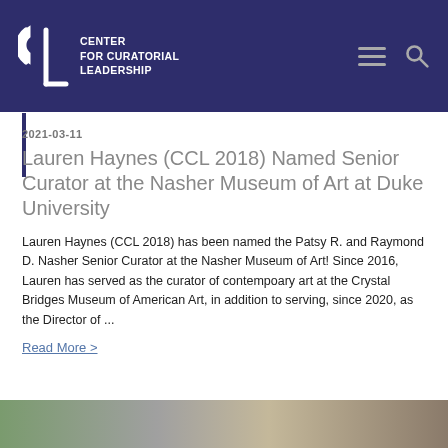CENTER FOR CURATORIAL LEADERSHIP
2021-03-11
Lauren Haynes (CCL 2018) Named Senior Curator at the Nasher Museum of Art at Duke University
Lauren Haynes (CCL 2018) has been named the Patsy R. and Raymond D. Nasher Senior Curator at the Nasher Museum of Art!  Since 2016, Lauren has served as the curator of contempoary art at the Crystal Bridges Museum of American Art, in addition to serving, since 2020, as the Director of ...
Read More >
[Figure (photo): Partial image strip at bottom of page, appears to show people or artwork, partially cropped]